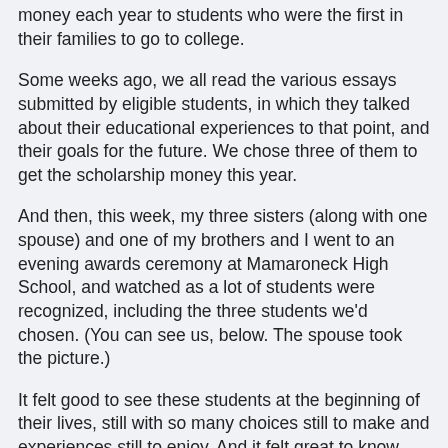money each year to students who were the first in their families to go to college.
Some weeks ago, we all read the various essays submitted by eligible students, in which they talked about their educational experiences to that point, and their goals for the future. We chose three of them to get the scholarship money this year.
And then, this week, my three sisters (along with one spouse) and one of my brothers and I went to an evening awards ceremony at Mamaroneck High School, and watched as a lot of students were recognized, including the three students we'd chosen. (You can see us, below. The spouse took the picture.)
It felt good to see these students at the beginning of their lives, still with so many choices still to make and experiences still to enjoy. And it felt great to know that this is